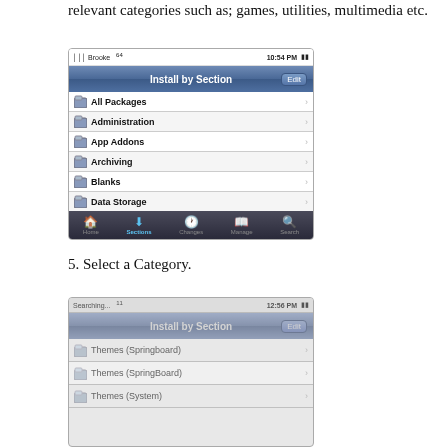relevant categories such as; games, utilities, multimedia etc.
[Figure (screenshot): iPhone screenshot showing Cydia 'Install by Section' screen with a list of package categories: All Packages, Administration, App Addons, Archiving, Blanks, Data Storage, Development, Dictionaries. Navigation bar at top with Edit button. Tab bar at bottom with Home, Sections, Changes, Manage, Search tabs.]
5. Select a Category.
[Figure (screenshot): iPhone screenshot showing Cydia 'Install by Section' screen in a searching/loading state with grayed-out appearance. List shows Themes (Springboard), Themes (SpringBoard), Themes (System) entries.]